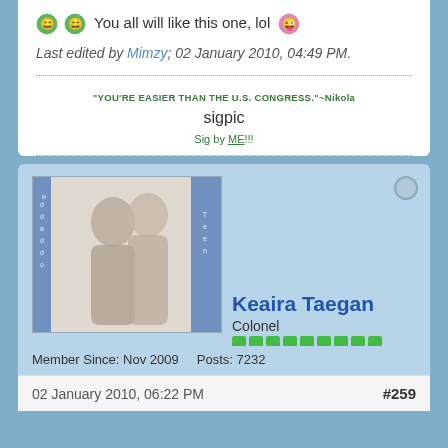😄 😄 You all will like this one, lol 😜
Last edited by Mimzy; 02 January 2010, 04:49 PM.
"YOU'RE EASIER THAN THE U.S. CONGRESS."~Nikola
sigpic
Sig by ME!!!
[Figure (photo): Avatar image of two people kissing, with blue sidebar text]
Keaira Taegan
Colonel
Member Since: Nov 2009   Posts: 7232
02 January 2010, 06:22 PM    #259